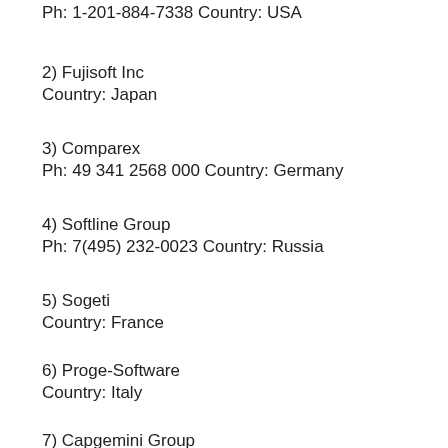1) AritonGroup Inc
Ph: 1-201-884-7338 Country: USA
2) Fujisoft Inc
Country: Japan
3) Comparex
Ph: 49 341 2568 000 Country: Germany
4) Softline Group
Ph: 7(495) 232-0023 Country: Russia
5) Sogeti
Country: France
6) Proge-Software
Country: Italy
7) Capgemini Group
Country: France